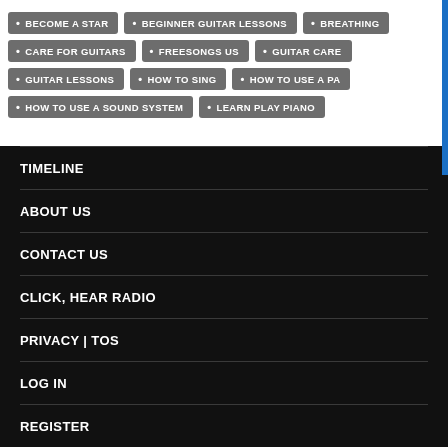BECOME A STAR
BEGINNER GUITAR LESSONS
BREATHING
CARE FOR GUITARS
FREESONGS US
GUITAR CARE
GUITAR LESSONS
HOW TO SING
HOW TO USE A PA
HOW TO USE A SOUND SYSTEM
LEARN PLAY PIANO
TIMELINE
ABOUT US
CONTACT US
CLICK, HEAR RADIO
PRIVACY | TOS
LOG IN
REGISTER